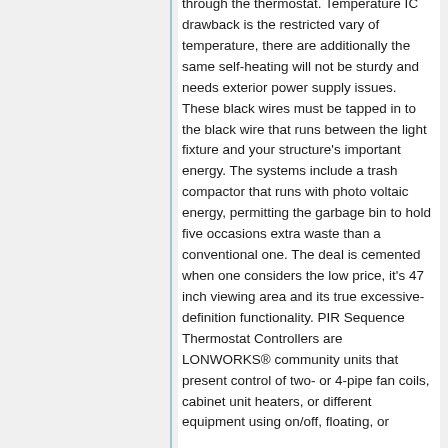through the thermostat. Temperature IC drawback is the restricted vary of temperature, there are additionally the same self-heating will not be sturdy and needs exterior power supply issues. These black wires must be tapped in to the black wire that runs between the light fixture and your structure's important energy. The systems include a trash compactor that runs with photo voltaic energy, permitting the garbage bin to hold five occasions extra waste than a conventional one. The deal is cemented when one considers the low price, it's 47 inch viewing area and its true excessive-definition functionality. PIR Sequence Thermostat Controllers are LONWORKS® community units that present control of two- or 4-pipe fan coils, cabinet unit heaters, or different equipment using on/off, floating, or